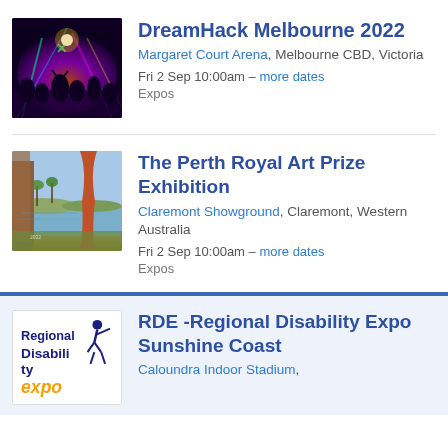[Figure (photo): DreamHack Melbourne 2022 event photo — colorful stage lighting with crowd silhouettes]
DreamHack Melbourne 2022
Margaret Court Arena, Melbourne CBD, Victoria
Fri 2 Sep 10:00am – more dates
Expos
[Figure (photo): The Perth Royal Art Prize Exhibition — painting showing tropical landscape with trees and water viewed through curtains]
The Perth Royal Art Prize Exhibition
Claremont Showground, Claremont, Western Australia
Fri 2 Sep 10:00am – more dates
Expos
[Figure (logo): Regional Disability Expo logo with stylized person figure and text Regional Disability in dark blue, with orange accent text below]
RDE -Regional Disability Expo Sunshine Coast
Caloundra Indoor Stadium,